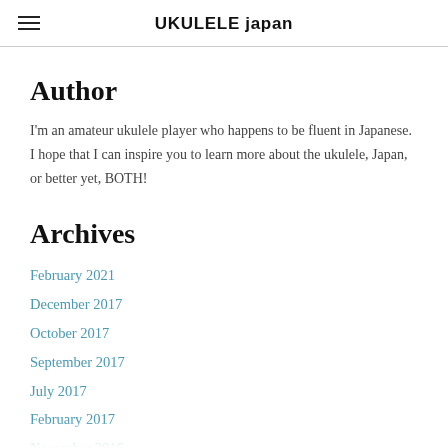UKULELE japan
Author
I'm an amateur ukulele player who happens to be fluent in Japanese.  I hope that I can inspire you to learn more about the ukulele, Japan, or better yet, BOTH!
Archives
February 2021
December 2017
October 2017
September 2017
July 2017
February 2017
November 2016
August 2016